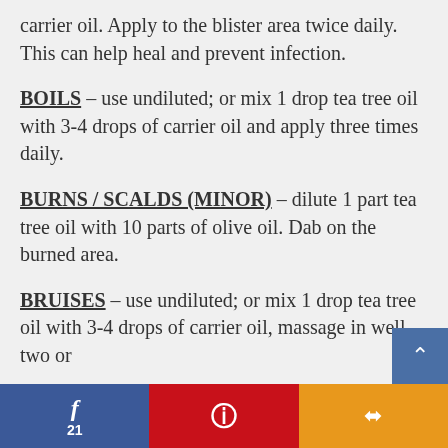carrier oil. Apply to the blister area twice daily. This can help heal and prevent infection.
BOILS – use undiluted; or mix 1 drop tea tree oil with 3-4 drops of carrier oil and apply three times daily.
BURNS / SCALDS (MINOR) – dilute 1 part tea tree oil with 10 parts of olive oil. Dab on the burned area.
BRUISES – use undiluted; or mix 1 drop tea tree oil with 3-4 drops of carrier oil, massage in well two or
f 21 | P | <share>